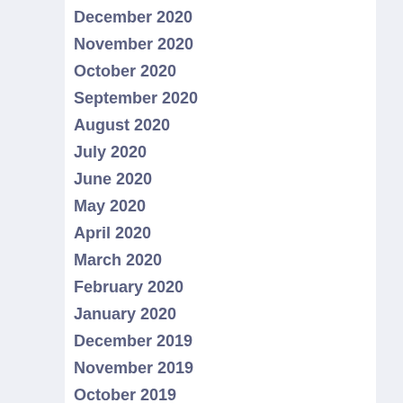December 2020
November 2020
October 2020
September 2020
August 2020
July 2020
June 2020
May 2020
April 2020
March 2020
February 2020
January 2020
December 2019
November 2019
October 2019
September 2019
August 2019
July 2019
June 2019
May 2019